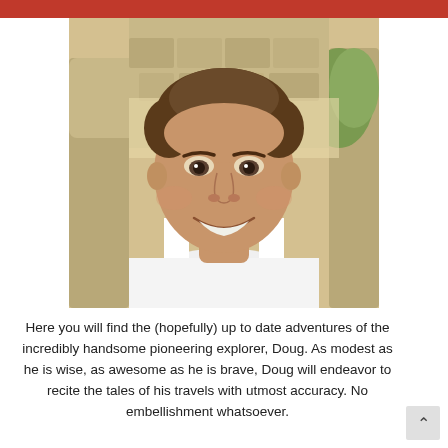[Figure (photo): Smiling young man with short brown hair wearing a white tank top and gold chain necklace, photographed outdoors in front of stone arches, sunny background with vegetation.]
Here you will find the (hopefully) up to date adventures of the incredibly handsome pioneering explorer, Doug. As modest as he is wise, as awesome as he is brave, Doug will endeavor to recite the tales of his travels with utmost accuracy. No embellishment whatsoever.